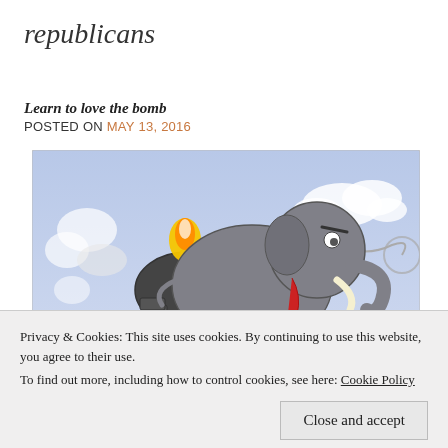republicans
Learn to love the bomb
POSTED ON MAY 13, 2016
[Figure (illustration): A cartoon illustration of a grey elephant with an angry expression riding a large bomb with a lit fuse and flame, set against a blue sky background with clouds.]
Privacy & Cookies: This site uses cookies. By continuing to use this website, you agree to their use.
To find out more, including how to control cookies, see here: Cookie Policy
Close and accept
+ Follow